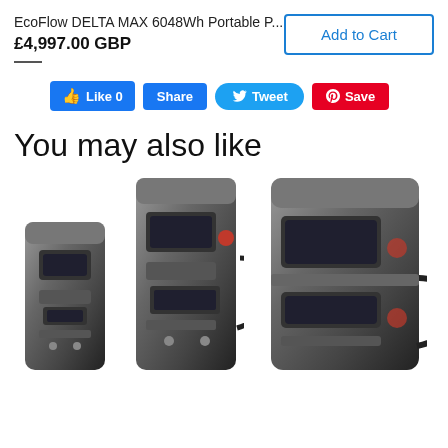EcoFlow DELTA MAX 6048Wh Portable P...
£4,997.00 GBP
Add to Cart
[Figure (screenshot): Social media sharing buttons: Facebook Like (0), Share, Twitter Tweet, Pinterest Save]
You may also like
[Figure (photo): Three portable power station products shown side by side: a smaller unit on the left, a medium unit with cable in the center, and a larger double-stacked unit with cable on the right. All are dark grey/black in color.]